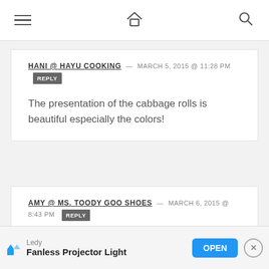Navigation bar with hamburger menu, home icon, and search icon
HANI @ HAYU COOKING — MARCH 5, 2015 @ 11:28 PM [REPLY]
The presentation of the cabbage rolls is beautiful especially the colors!
AMY @ MS. TOODY GOO SHOES — MARCH 6, 2015 @ 8:43 PM [REPLY]
Nice alternative to the usual corned beef and cabbage! Thanks for linking up at Best of the We…
[Figure (screenshot): Ad banner: Ledy Fanless Projector Light with OPEN button]